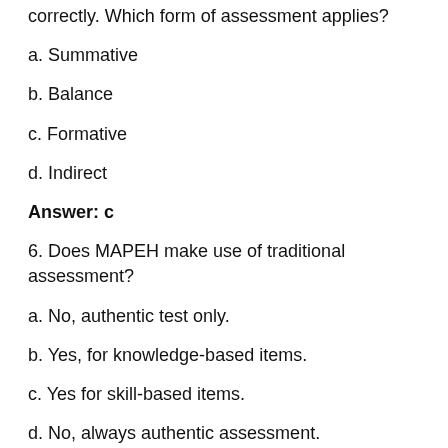correctly. Which form of assessment applies?
a. Summative
b. Balance
c. Formative
d. Indirect
Answer: c
6. Does MAPEH make use of traditional assessment?
a. No, authentic test only.
b. Yes, for knowledge-based items.
c. Yes for skill-based items.
d. No, always authentic assessment.
Answer: b